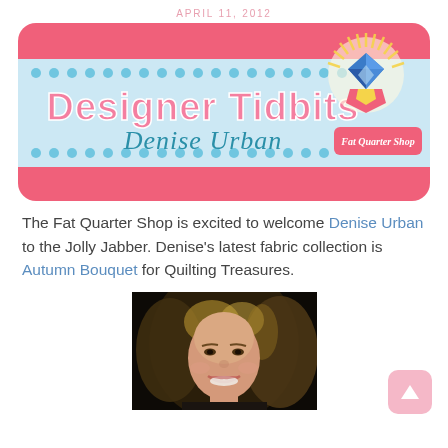APRIL 11, 2012
[Figure (logo): Designer Tidbits - Denise Urban banner with Fat Quarter Shop logo on pink background with polka dot trim]
The Fat Quarter Shop is excited to welcome Denise Urban to the Jolly Jabber. Denise's latest fabric collection is Autumn Bouquet for Quilting Treasures.
[Figure (photo): Portrait photo of Denise Urban, blonde woman smiling against dark background]